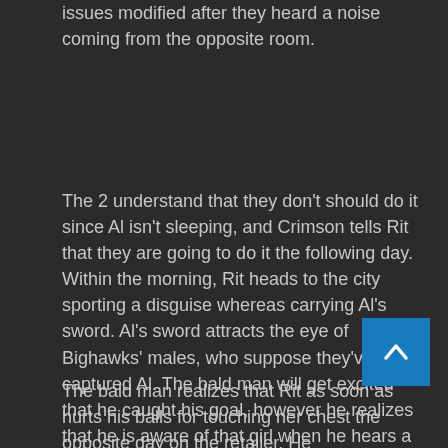issues modified after they heard a noise coming from the opposite room.
The 2 understand that they don't should do it since Al isn't sleeping, and Crimson tells Rit that they are going to do it the following day. Within the morning, Rit heads to the city sporting a disguise whereas carrying Al's sword. Al's sword attracts the eye of Bighawks' males, who suppose they've captured Al. The bald man will get excited that he caught his goal, however he realizes that he is aware of that girl when he hears a girl's voice. Rit reveals herself, and Bighawks males discover that it's champion Rit.
The bald man realizes that Rit as soon as hurts his balls for touching her chest the opposite day on the retailer. He